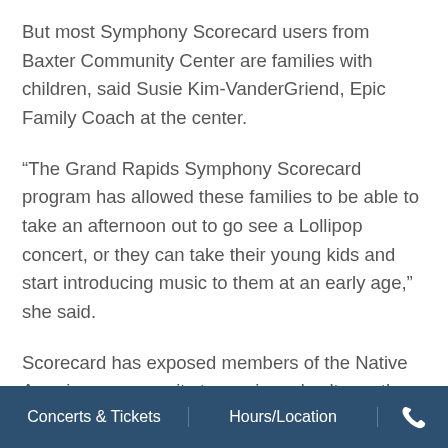But most Symphony Scorecard users from Baxter Community Center are families with children, said Susie Kim-VanderGriend, Epic Family Coach at the center.
“The Grand Rapids Symphony Scorecard program has allowed these families to be able to take an afternoon out to go see a Lollipop concert, or they can take their young kids and start introducing music to them at an early age,” she said.
Scorecard has exposed members of the Native American community to music and culture other than their own, said Angelo Franchi, Native American Outreach Specialist with the Michigan State Department of Health and Human Services office in Kent County.
Concerts & Tickets | Hours/Location | [phone]